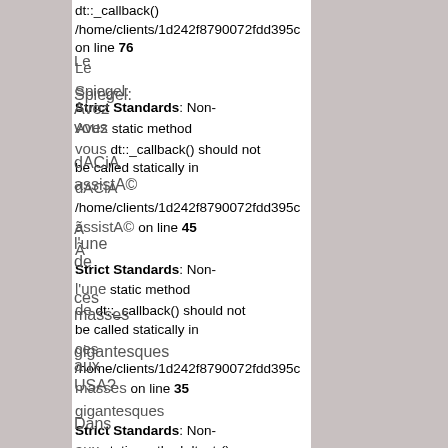dt::_callback() /home/clients/1d242f8790072fdd395c on line 76
Le Spiegel: Strict Standards: Non-static method dt::_callback() should not be called statically in /home/clients/1d242f8790072fdd395c on line 45
Avez vous dACiA assistA© Ã  l'une de ces masses gigantesques aux USA? Strict Standards: Non-static method dt::str() should not be called statically in /home/clients/1d242f8790072fdd395c on line 76
Dans Oh Strict Standards: Non-static method dt::_callback() should not be called statically in /home/clients/1d242f8790072fdd395c on line 35
de la Strict Standards: Non-static method dt::_callback() should not be called statically in /home/clients/1d242f8790072fdd395c on line 35
la Strict Standards: Non-